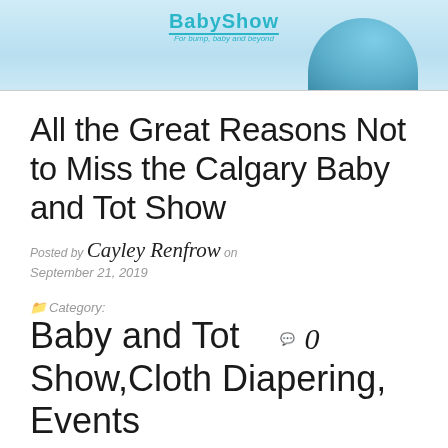[Figure (photo): Baby lying down wearing blue outfit, with a logo reading 'BabyShow' and tagline 'For bump, baby and beyond' at the top of the image]
All the Great Reasons Not to Miss the Calgary Baby and Tot Show
Posted by Cayley Renfrow on
September 21, 2019
Category: Baby and Tot Show, Cloth Diapering, Events 0